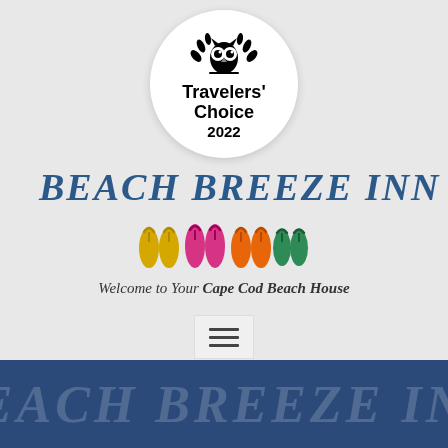[Figure (logo): TripAdvisor Travelers' Choice 2022 award badge — white circle with owl logo and laurel wings, black text reading Travelers' Choice 2022]
Beach Breeze Inn
[Figure (illustration): Row of four pairs of colorful flip-flop sandals: yellow, pink/magenta, orange, and green]
Welcome to Your Cape Cod Beach House
[Figure (other): Hamburger menu icon (three horizontal lines) in a light gray box]
BOOK NOW!
BEACH BREEZE INN